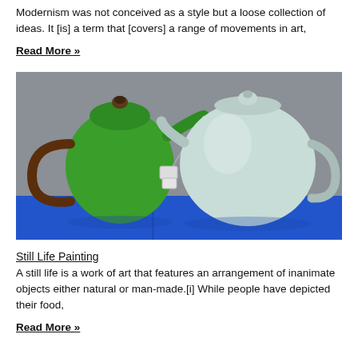Modernism was not conceived as a style but a loose collection of ideas. It [is] a term that [covers] a range of movements in art,
Read More »
[Figure (photo): Photograph of two teapots on a blue surface: a green metal teapot on the left with a brown handle and teabag hanging from spout, and a pale mint ceramic teapot on the right, set against a gray background.]
Still Life Painting
A still life is a work of art that features an arrangement of inanimate objects either natural or man-made.[i] While people have depicted their food,
Read More »